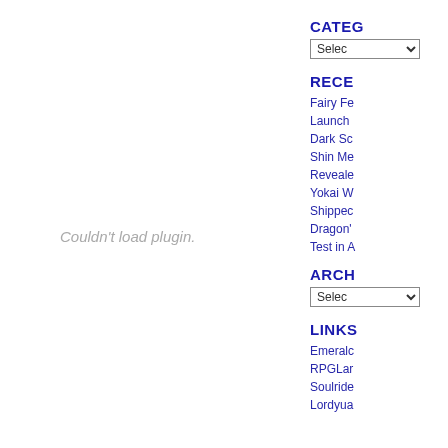Couldn't load plugin.
CATEG
Selec
RECE
Fairy Fe
Launch
Dark Sc
Shin Me
Reveale
Yokai W
Shippec
Dragon'
Test in A
ARCH
Selec
LINKS
Emeralc
RPGLar
Soulride
Lordyua